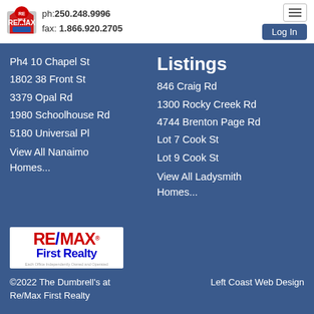ph: 250.248.9996  fax: 1.866.920.2705
Ph4 10 Chapel St
1802 38 Front St
3379 Opal Rd
1980 Schoolhouse Rd
5180 Universal Pl
View All Nanaimo Homes...
Listings
846 Craig Rd
1300 Rocky Creek Rd
4744 Brenton Page Rd
Lot 7 Cook St
Lot 9 Cook St
View All Ladysmith Homes...
[Figure (logo): RE/MAX First Realty logo with red and blue text on white background]
©2022 The Dumbrell's at Re/Max First Realty   Left Coast Web Design